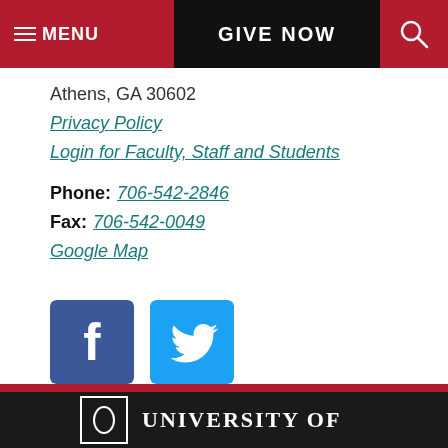MENU | GIVE NOW | (search icon)
Athens, GA 30602
Privacy Policy
Login for Faculty, Staff and Students
Phone: 706-542-2846
Fax: 706-542-0049
Google Map
[Figure (logo): Facebook and Twitter social media icons]
UNIVERSITY OF (UGA Logo)